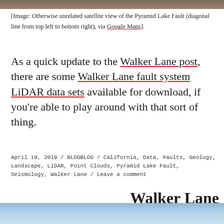[Figure (photo): Partial satellite view of landscape at the top of the page]
[Image: Otherwise unrelated satellite view of the Pyramid Lake Fault (diagonal line from top left to bottom right), via Google Maps].
As a quick update to the Walker Lane post, there are some Walker Lane fault system LiDAR data sets available for download, if you’re able to play around with that sort of thing.
April 19, 2019 / BLDGBLOG / California, Data, Faults, Geology, Landscape, LiDAR, Point Clouds, Pyramid Lake Fault, Seismology, Walker Lane / Leave a comment
Walker Lane
[Figure (photo): Blue sky / landscape photo partially visible at the bottom of the page]